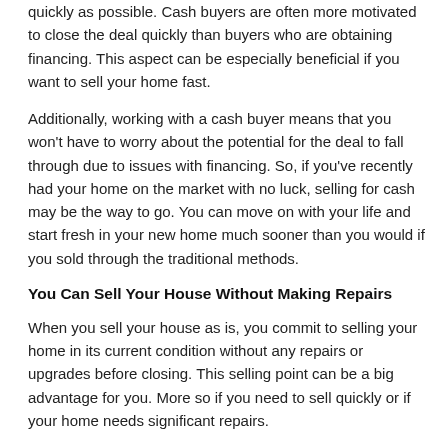quickly as possible. Cash buyers are often more motivated to close the deal quickly than buyers who are obtaining financing. This aspect can be especially beneficial if you want to sell your home fast.
Additionally, working with a cash buyer means that you won't have to worry about the potential for the deal to fall through due to issues with financing. So, if you've recently had your home on the market with no luck, selling for cash may be the way to go. You can move on with your life and start fresh in your new home much sooner than you would if you sold through the traditional methods.
You Can Sell Your House Without Making Repairs
When you sell your house as is, you commit to selling your home in its current condition without any repairs or upgrades before closing. This selling point can be a big advantage for you. More so if you need to sell quickly or if your home needs significant repairs.
By selling as is, you can avoid the hassle and expense of making repairs, which can often be very costly. This option can help you save the time and resources you would have otherwise spent making the repairs.
When you sell as is, buyers will usually expect to pay less for the property than they would if it was in perfect condition. However,